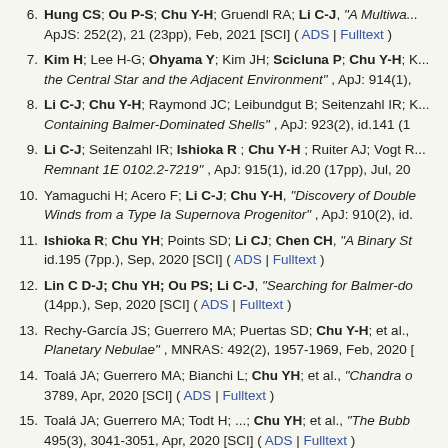6. Hung CS; Ou P-S; Chu Y-H; Gruendl RA; Li C-J, "A Multiwa..." ApJS: 252(2), 21 (23pp), Feb, 2021 [SCI] ( ADS | Fulltext )
7. Kim H; Lee H-G; Ohyama Y; Kim JH; Scicluna P; Chu Y-H; ... the Central Star and the Adjacent Environment", ApJ: 914(1), ...
8. Li C-J; Chu Y-H; Raymond JC; Leibundgut B; Seitenzahl IR; ... Containing Balmer-Dominated Shells", ApJ: 923(2), id.141 (1...
9. Li C-J; Seitenzahl IR; Ishioka R; Chu Y-H; Ruiter AJ; Vogt R... Remnant 1E 0102.2-7219", ApJ: 915(1), id.20 (17pp), Jul, 20...
10. Yamaguchi H; Acero F; Li C-J; Chu Y-H, "Discovery of Double... Winds from a Type Ia Supernova Progenitor", ApJ: 910(2), id....
11. Ishioka R; Chu YH; Points SD; Li CJ; Chen CH, "A Binary St... id.195 (7pp.), Sep, 2020 [SCI] ( ADS | Fulltext )
12. Lin C D-J; Chu YH; Ou PS; Li C-J, "Searching for Balmer-do... (14pp.), Sep, 2020 [SCI] ( ADS | Fulltext )
13. Rechy-García JS; Guerrero MA; Puertas SD; Chu Y-H; et al., ... Planetary Nebulae", MNRAS: 492(2), 1957-1969, Feb, 2020 ...
14. Toalá JA; Guerrero MA; Bianchi L; Chu YH; et al., "Chandra o... 3789, Apr, 2020 [SCI] ( ADS | Fulltext )
15. Toalá JA; Guerrero MA; Todt H; ...; Chu YH; et al., "The Bubb... 495(3), 3041-3051, Apr, 2020 [SCI] ( ADS | Fulltext )